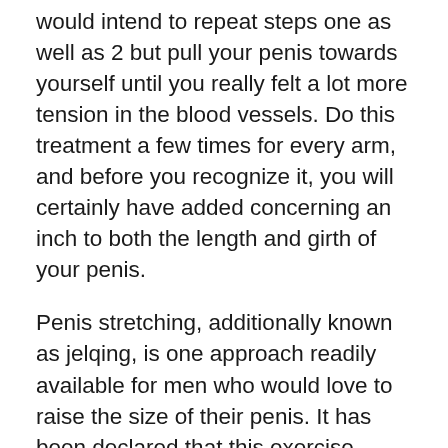would intend to repeat steps one as well as 2 but pull your penis towards yourself until you really felt a lot more tension in the blood vessels. Do this treatment a few times for every arm, and before you recognize it, you will certainly have added concerning an inch to both the length and girth of your penis.
Penis stretching, additionally known as jelqing, is one approach readily available for men who would love to raise the size of their penis. It has been declared that this exercise strategy is so reliable that it can increase the penis size and also girth dimension of males. Its non-vasive strategy makes it an eye-catching entry-level choice. The biggest inquiry still exists: does it actually function?